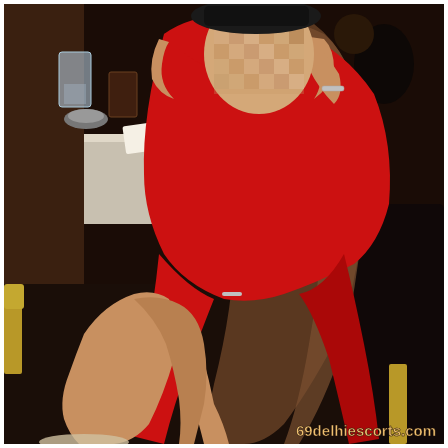[Figure (photo): A woman in a red off-shoulder dress sitting on a black chair at what appears to be a bar or restaurant, with a marble table visible. Her face is blurred/pixelated. She has long brown hair and is wearing a bracelet. The image has a watermark at the bottom right.]
69delhiescorts.com